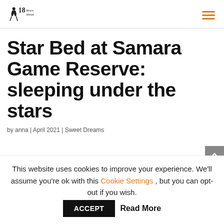18 Hours Ahead [logo] | hamburger menu
Star Bed at Samara Game Reserve: sleeping under the stars
by anna | April 2021 | Sweet Dreams
This website uses cookies to improve your experience. We'll assume you're ok with this Cookie Settings , but you can opt-out if you wish. ACCEPT Read More